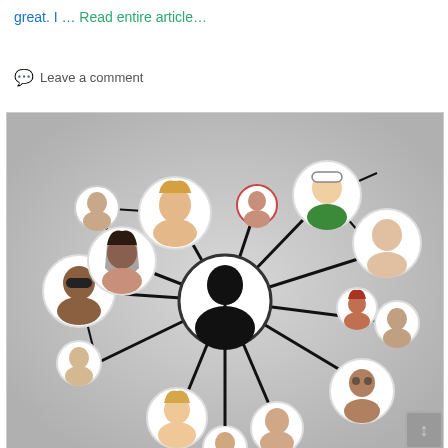great. I … Read entire article…
🗨 Leave a comment
[Figure (network-graph): A social network diagram showing a central silhouetted person connected by lines to multiple surrounding people shown in circular photo frames, representing a personal social network.]